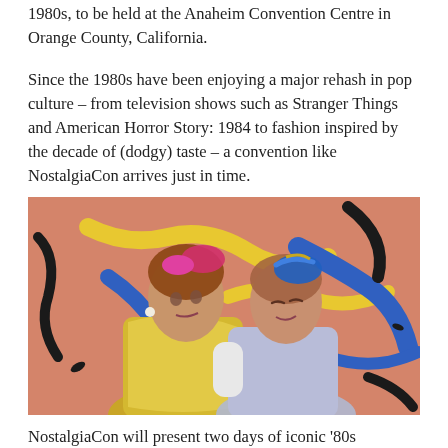1980s, to be held at the Anaheim Convention Centre in Orange County, California.
Since the 1980s have been enjoying a major rehash in pop culture – from television shows such as Stranger Things and American Horror Story: 1984 to fashion inspired by the decade of (dodgy) taste – a convention like NostalgiaCon arrives just in time.
[Figure (photo): Two young women dressed in 1980s-inspired fashion — one in a gold satin outfit with a pink bow headband and pearl earrings, the other in a light purple outfit with a blue metallic headband — posed against a colourful abstract splatter-paint background in pink, blue, yellow, and black.]
NostalgiaCon will present two days of iconic '80s celebrities, live music acts, cosplay, collectibles, retro